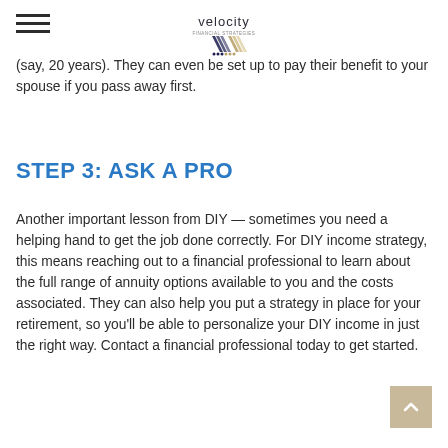velocity [logo]
(say, 20 years). They can even be set up to pay their benefit to your spouse if you pass away first.
STEP 3: ASK A PRO
Another important lesson from DIY — sometimes you need a helping hand to get the job done correctly. For DIY income strategy, this means reaching out to a financial professional to learn about the full range of annuity options available to you and the costs associated. They can also help you put a strategy in place for your retirement, so you'll be able to personalize your DIY income in just the right way. Contact a financial professional today to get started.